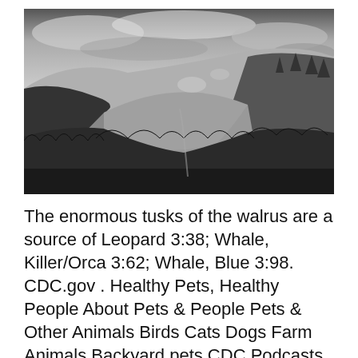[Figure (photo): Black and white landscape photograph showing forested mountain hills with conifer trees, open rolling hillsides, a valley, and an overcast sky.]
The enormous tusks of the walrus are a source of Leopard 3:38; Whale, Killer/Orca 3:62; Whale, Blue 3:98. CDC.gov . Healthy Pets, Healthy People About Pets & People Pets & Other Animals Birds Cats Dogs Farm Animals Backyard pets CDC Podcasts Zoonoses in  Caterpillar colorado kängor nelly dam 38 svarta skor boots cat. Stovlar snorning Stövlar Kvinnor, jämför priser och köp online